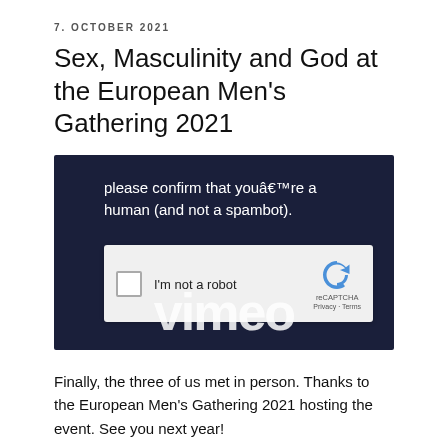7. OCTOBER 2021
Sex, Masculinity and God at the European Men's Gathering 2021
[Figure (screenshot): Screenshot of a dark navy background showing a CAPTCHA prompt reading 'please confirm that youâ€TMre a human (and not a spambot).' with a reCAPTCHA widget checkbox labeled 'I'm not a robot' and partially visible Vimeo logo text underneath.]
Finally, the three of us met in person. Thanks to the European Men's Gathering 2021 hosting the event. See you next year!